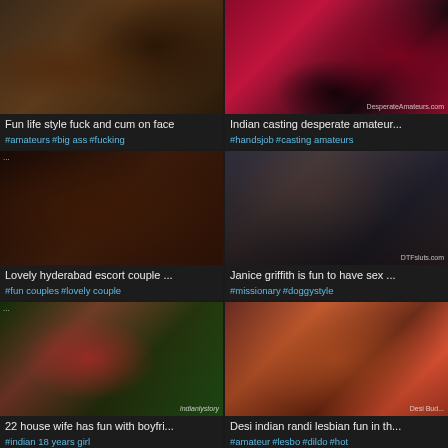[Figure (photo): Video thumbnail 1: adult content]
Fun life style fuck and cum on face
#amateurs #big ass #fucking
[Figure (photo): Video thumbnail 2: adult content]
Indian casting desperate amateur...
#handsjob #casting amateurs
[Figure (photo): Video thumbnail 3: adult content]
Lovely hyderabad escort couple ...
#fun couples #lovely couple
[Figure (photo): Video thumbnail 4: adult content]
Janice griffith is fun to have sex ...
#missionary #doggystyle
[Figure (photo): Video thumbnail 5: adult content]
22 house wife has fun with boyfri...
#indian 18 years girl
[Figure (photo): Video thumbnail 6: adult content]
Desi indian randi lesbian fun in th...
#amateur #lesbo #dildo #hot